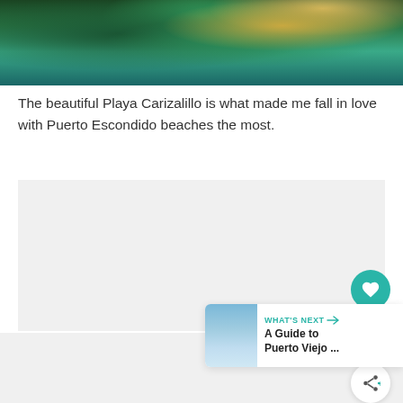[Figure (photo): Aerial or elevated view of a tropical beach (Playa Carizalillo) with lush green and palm trees in the foreground and turquoise water visible in the background]
The beautiful Playa Carizalillo is what made me fall in love with Puerto Escondido beaches the most.
[Figure (photo): A second image placeholder (light gray rectangle) showing another beach or travel scene]
[Figure (photo): WHAT'S NEXT card thumbnail showing a coastal scene — A Guide to Puerto Viejo ...]